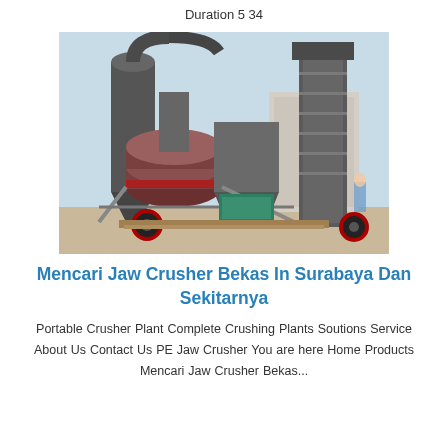Duration 5 34
[Figure (photo): Industrial grinding mill machine with cyclone dust collector and bucket elevator, photographed outdoors at a construction or quarry site.]
Mencari Jaw Crusher Bekas In Surabaya Dan Sekitarnya
Portable Crusher Plant Complete Crushing Plants Soutions Service About Us Contact Us PE Jaw Crusher You are here Home Products Mencari Jaw Crusher Bekas...